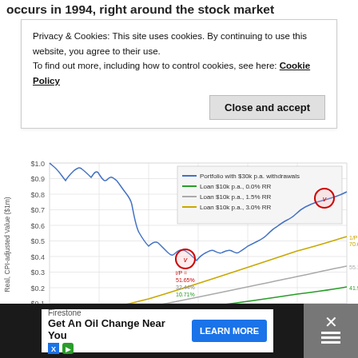occurs in 1994, right around the stock market
Privacy & Cookies: This site uses cookies. By continuing to use this website, you agree to their use.
To find out more, including how to control cookies, see here: Cookie Policy
Close and accept
[Figure (continuous-plot): Line chart showing portfolio real CPI-adjusted value ($1m) vs months after retirement (0-360). Four lines: blue (Portfolio with $30k p.a. withdrawals), green (Loan $10k p.a., 0.0% RR), gray (Loan $10k p.a., 1.5% RR), yellow (Loan $10k p.a., 3.0% RR). Y-axis: $0.0 to $1.0. X-axis: 0 to 360 months. Two red circled annotations near months 190 and 330. Watermark: EarlyRetirementNow.com]
Firestone
Get An Oil Change Near You
LEARN MORE